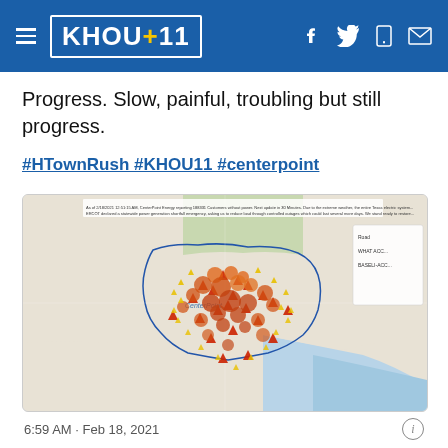KHOU 11
Progress. Slow, painful, troubling but still progress.
#HTownRush #KHOU11 #centerpoint
[Figure (map): CenterPoint Energy outage map showing power outages across the Houston, Texas area with red, orange, and yellow triangle/cluster markers indicating outage locations. Blue boundary lines outline service territory. Map dated Feb 18, 2021.]
6:59 AM · Feb 18, 2021